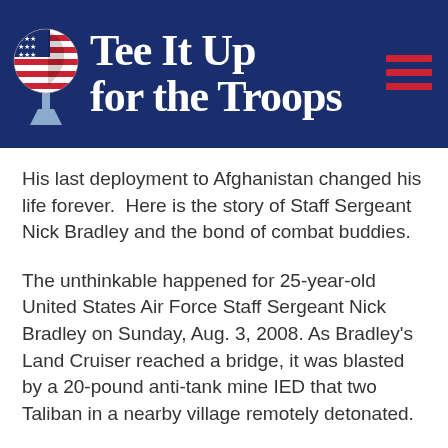[Figure (logo): Tee It Up for the Troops logo with a golf ball-shaped head wearing a patriotic USA flag design, mounted on a golf tee, beside large white bold text 'Tee It Up for the Troops' on a dark navy blue banner with a red hamburger menu icon on the right.]
His last deployment to Afghanistan changed his life forever.  Here is the story of Staff Sergeant Nick Bradley and the bond of combat buddies.
The unthinkable happened for 25-year-old United States Air Force Staff Sergeant Nick Bradley on Sunday, Aug. 3, 2008. As Bradley's Land Cruiser reached a bridge, it was blasted by a 20-pound anti-tank mine IED that two Taliban in a nearby village remotely detonated.